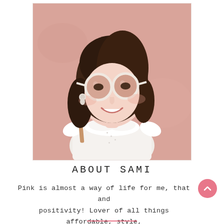[Figure (photo): Young woman with brown hair wearing round white-framed sunglasses, white ruffled top, pearl earrings, leaning against a pink stucco wall, smiling.]
ABOUT SAMI
Pink is almost a way of life for me, that and positivity! Lover of all things affordable, style, beauty, home decor, and mental health